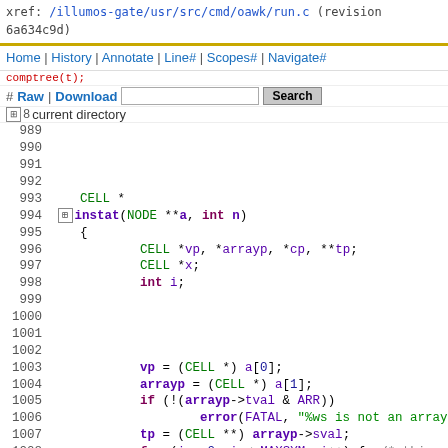xref: /illumos-gate/usr/src/cmd/oawk/run.c (revision 6a634c9d)
Home | History | Annotate | Line# | Scopes# | Navigate#
#Raw | Download  [search box] Search
628 current directory
989
990
991
992
993    CELL *
994  instat(NODE **a, int n)
995    {
996            CELL *vp, *arrayp, *cp, **tp;
997            CELL *x;
998            int i;
999
1000
1001
1002
1003            vp = (CELL *) a[0];
1004            arrayp = (CELL *) a[1];
1005            if (!(arrayp->tval & ARR))
1006                    error(FATAL, "%ws is not an array'
1007            tp = (CELL **) arrayp->sval;
1008            for (i = 0; i < MAXSYM; i++) {  /* this ro
1009                    for (cp = tp[i]; cp != NULL; cp =
1010                            setsval(vp, cp->nval);
1011                            x = execute(a[2]);